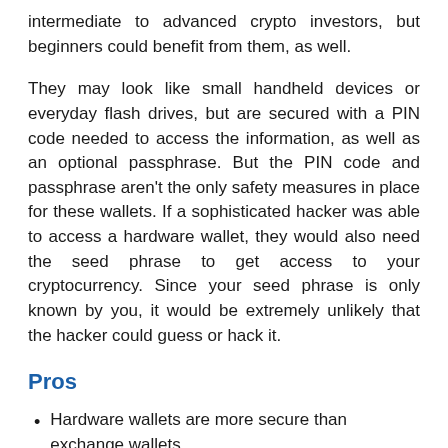intermediate to advanced crypto investors, but beginners could benefit from them, as well.
They may look like small handheld devices or everyday flash drives, but are secured with a PIN code needed to access the information, as well as an optional passphrase. But the PIN code and passphrase aren't the only safety measures in place for these wallets. If a sophisticated hacker was able to access a hardware wallet, they would also need the seed phrase to get access to your cryptocurrency. Since your seed phrase is only known by you, it would be extremely unlikely that the hacker could guess or hack it.
Pros
Hardware wallets are more secure than exchange wallets.